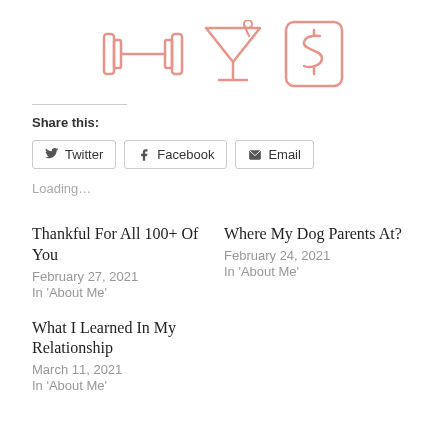[Figure (logo): Three pink outline icons: a dumbbell (H shape with weights), a martini glass with a straw, and a dollar sign]
Share this:
Twitter  Facebook  Email
Loading…
Thankful For All 100+ Of You
February 27, 2021
In 'About Me'
Where My Dog Parents At?
February 24, 2021
In 'About Me'
What I Learned In My Relationship
March 11, 2021
In 'About Me'